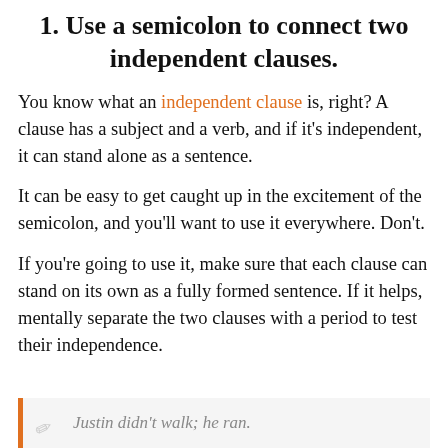1. Use a semicolon to connect two independent clauses.
You know what an independent clause is, right? A clause has a subject and a verb, and if it's independent, it can stand alone as a sentence.
It can be easy to get caught up in the excitement of the semicolon, and you'll want to use it everywhere. Don't.
If you're going to use it, make sure that each clause can stand on its own as a fully formed sentence. If it helps, mentally separate the two clauses with a period to test their independence.
Justin didn't walk; he ran.